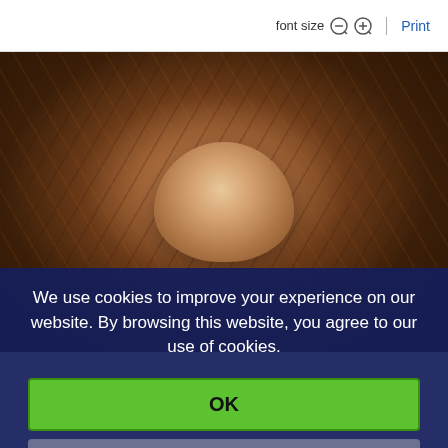font size  |  Print
[Figure (photo): Back of a bald man's head against a decorative dark patterned background]
We use cookies to improve your experience on our website. By browsing this website, you agree to our use of cookies.
OK
More Info
Decline